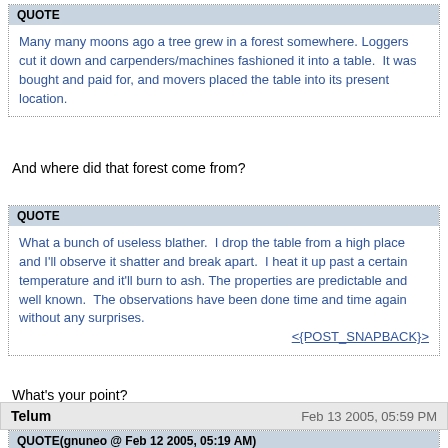QUOTE
Many many moons ago a tree grew in a forest somewhere. Loggers cut it down and carpenders/machines fashioned it into a table.  It was bought and paid for, and movers placed the table into its present location.
And where did that forest come from?
QUOTE
What a bunch of useless blather.  I drop the table from a high place and I'll observe it shatter and break apart.  I heat it up past a certain temperature and it'll burn to ash. The properties are predictable and well known.  The observations have been done time and time again without any surprises. <{POST_SNAPBACK}>
What's your point?
Telum    Feb 13 2005, 05:59 PM
QUOTE(gnuneo @ Feb 12 2005, 05:19 AM)
shoppy: